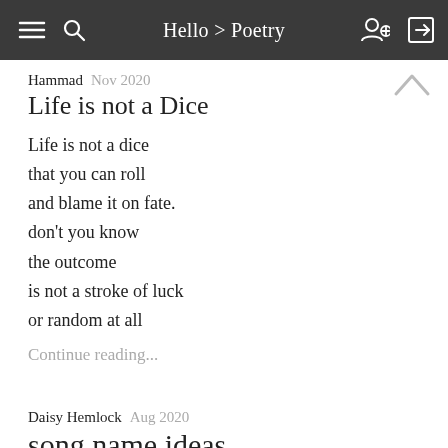Hello > Poetry
Hammad  Nov 2020
Life is not a Dice
Life is not a dice
that you can roll
and blame it on fate.
don't you know
the outcome
is not a stroke of luck
or random at all
Continue reading...
Daisy Hemlock  Aug 2020
song name ideas
milk is just grass